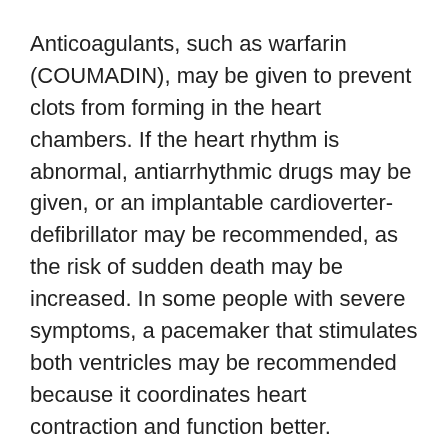Anticoagulants, such as warfarin (COUMADIN), may be given to prevent clots from forming in the heart chambers. If the heart rhythm is abnormal, antiarrhythmic drugs may be given, or an implantable cardioverter-defibrillator may be recommended, as the risk of sudden death may be increased. In some people with severe symptoms, a pacemaker that stimulates both ventricles may be recommended because it coordinates heart contraction and function better.
Heart transplantation may be an option for a few otherwise healthy people who have very severe, worsening heart failure and who have not responded to drug therapy. Mechanical assist devices that help pump blood are used in specialized centers for certain patients with very